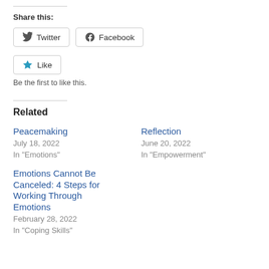Share this:
Twitter | Facebook
Like | Be the first to like this.
Related
Peacemaking
July 18, 2022
In "Emotions"
Reflection
June 20, 2022
In "Empowerment"
Emotions Cannot Be Canceled: 4 Steps for Working Through Emotions
February 28, 2022
In "Coping Skills"